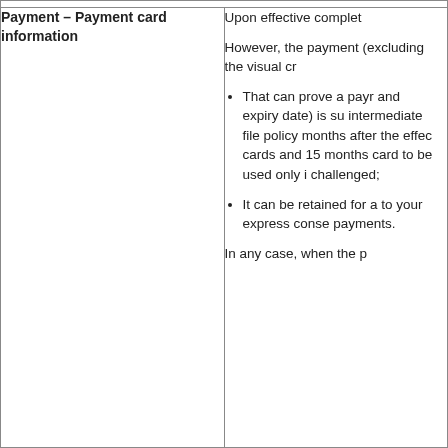| Category | Description |
| --- | --- |
| Payment – Payment card information | Upon effective complet… However, the payment (excluding the visual cr… • That can prove a payr… and expiry date) is su… intermediate file policy… months after the effec… cards and 15 months … card to be used only i… challenged; • It can be retained for … to your express conse… payments. In any case, when the p… |